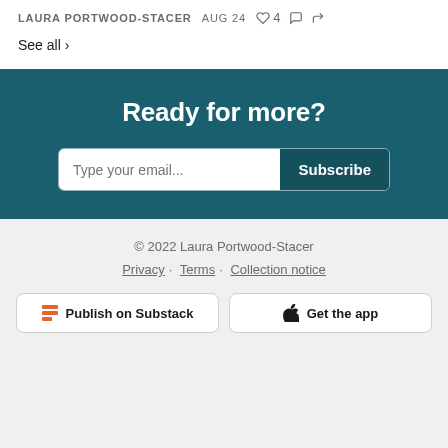LAURA PORTWOOD-STACER  AUG 24  ♡ 4
See all ›
Ready for more?
Type your email... Subscribe
© 2022 Laura Portwood-Stacer
Privacy · Terms · Collection notice
Publish on Substack  Get the app